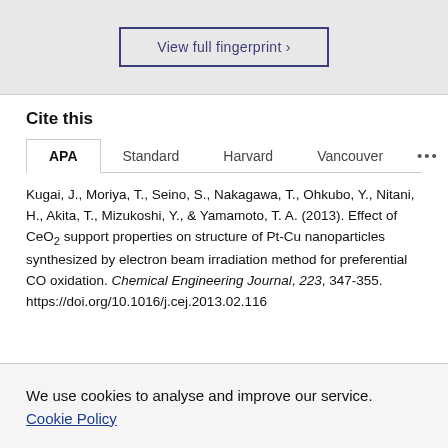[Figure (other): View full fingerprint button with dark blue border]
Cite this
APA | Standard | Harvard | Vancouver | ...
Kugai, J., Moriya, T., Seino, S., Nakagawa, T., Ohkubo, Y., Nitani, H., Akita, T., Mizukoshi, Y., & Yamamoto, T. A. (2013). Effect of CeO2 support properties on structure of Pt-Cu nanoparticles synthesized by electron beam irradiation method for preferential CO oxidation. Chemical Engineering Journal, 223, 347-355. https://doi.org/10.1016/j.cej.2013.02.116
We use cookies to analyse and improve our service. Cookie Policy